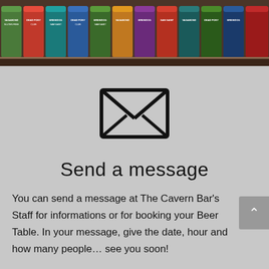[Figure (photo): Row of colorful beer cans on a shelf with labels including Vagabond Gluten Free, Dead Pony Club, Sam Saint, Brewdog, and others]
[Figure (illustration): Envelope icon outline illustration]
Send a message
You can send a message at The Cavern Bar's Staff for informations or for booking your Beer Table. In your message, give the date, hour and how many people… see you soon!
Contact us & Book a Beer table
Surname